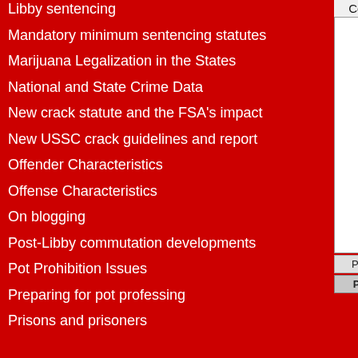Libby sentencing
Mandatory minimum sentencing statutes
Marijuana Legalization in the States
National and State Crime Data
New crack statute and the FSA's impact
New USSC crack guidelines and report
Offender Characteristics
Offense Characteristics
On blogging
Post-Libby commutation developments
Pot Prohibition Issues
Preparing for pot professing
Prisons and prisoners
[Figure (screenshot): Partial view of a comment input box with textarea and Preview/Post buttons]